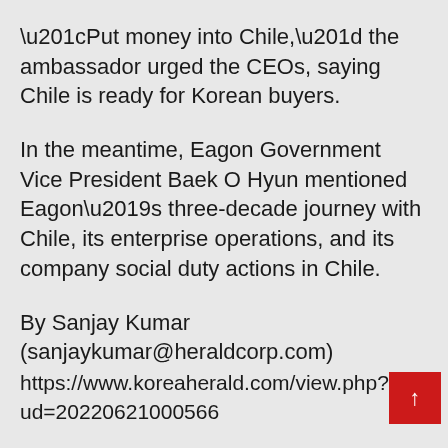“Put money into Chile,” the ambassador urged the CEOs, saying Chile is ready for Korean buyers.
In the meantime, Eagon Government Vice President Baek O Hyun mentioned Eagon’s three-decade journey with Chile, its enterprise operations, and its company social duty actions in Chile.
By Sanjay Kumar
(sanjaykumar@heraldcorp.com)
https://www.koreaherald.com/view.php?ud=20220621000566